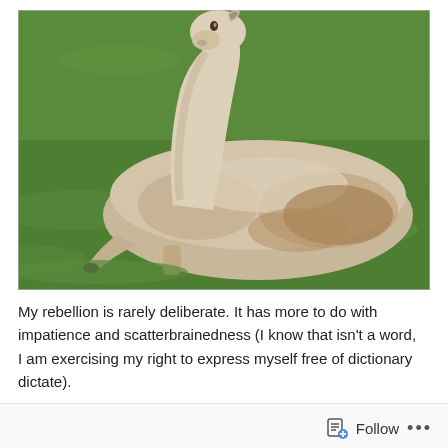[Figure (photo): A llama with cream and beige fluffy wool is resting on green grass, facing left with its head raised. The background is a green grassy field.]
My rebellion is rarely deliberate. It has more to do with impatience and scatterbrainedness (I know that isn't a word, I am exercising my right to express myself free of dictionary dictate).
Follow ...